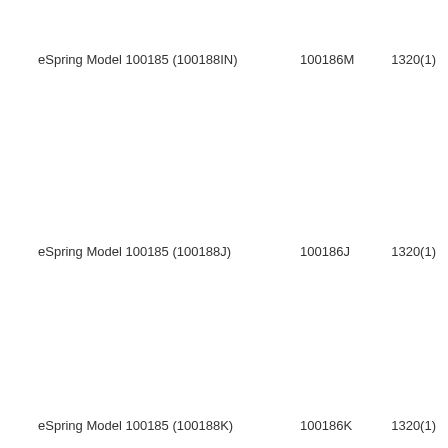eSpring Model 100185 (100188IN)   100186M   1320(1)
eSpring Model 100185 (100188J)   100186J   1320(1)
eSpring Model 100185 (100188K)   100186K   1320(1)